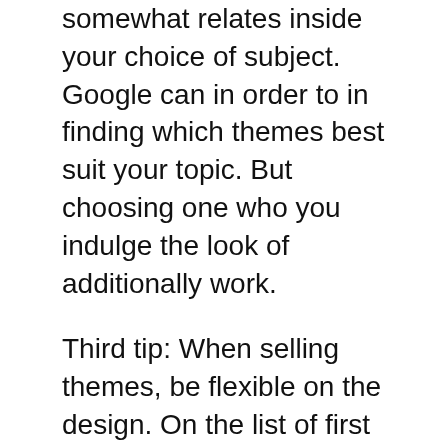somewhat relates inside your choice of subject. Google can in order to in finding which themes best suit your topic. But choosing one who you indulge the look of additionally work.
Third tip: When selling themes, be flexible on the design. On the list of first things any buyer will check out is the capability to tweak the design to suit them. Suggest to them how your design is similar to in different colored backgrounds, a theme that can be tweaked however look great is certain to be a bestseller.
When you buy a premium wordpress theme, you'll have a be effective at work however person that designing the theme to make